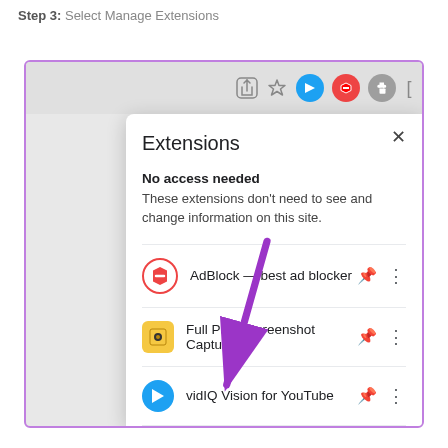Step 3: Select Manage Extensions
[Figure (screenshot): Chrome browser Extensions popup panel showing AdBlock, Full Page Screenshot Captur..., vidIQ Vision for YouTube extensions, and Manage Extensions option at the bottom. A purple arrow points to the Manage Extensions option. The popup is overlaid on a browser window with toolbar icons visible.]